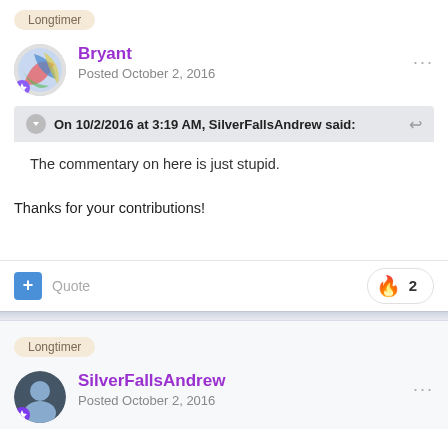Longtimer
Bryant
Posted October 2, 2016
On 10/2/2016 at 3:19 AM, SilverFallsAndrew said:
The commentary on here is just stupid.
Thanks for your contributions!
Quote
2
Longtimer
SilverFallsAndrew
Posted October 2, 2016